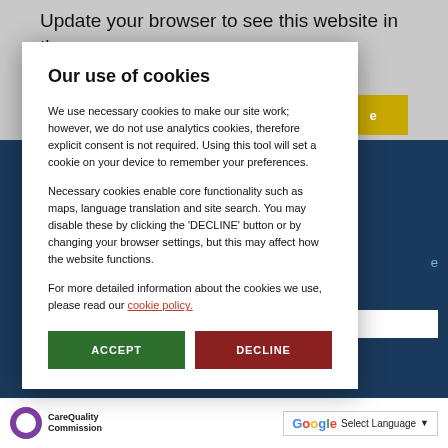Update your browser to see this website in the best possible view and to security.
Our use of cookies
We use necessary cookies to make our site work; however, we do not use analytics cookies, therefore explicit consent is not required. Using this tool will set a cookie on your device to remember your preferences.
Necessary cookies enable core functionality such as maps, language translation and site search. You may disable these by clicking the 'DECLINE' button or by changing your browser settings, but this may affect how the website functions.
For more detailed information about the cookies we use, please read our cookie policy.
ACCEPT
DECLINE